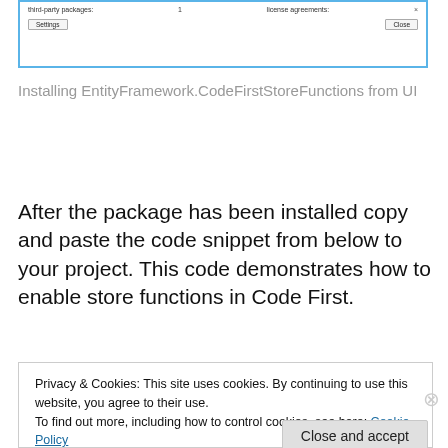[Figure (screenshot): A dialog or settings window showing third-party packages, license agreements, Settings and Close buttons]
Installing EntityFramework.CodeFirstStoreFunctions from UI
After the package has been installed copy and paste the code snippet from below to your project. This code demonstrates how to enable store functions in Code First.
Privacy & Cookies: This site uses cookies. By continuing to use this website, you agree to their use.
To find out more, including how to control cookies, see here: Cookie Policy
Close and accept